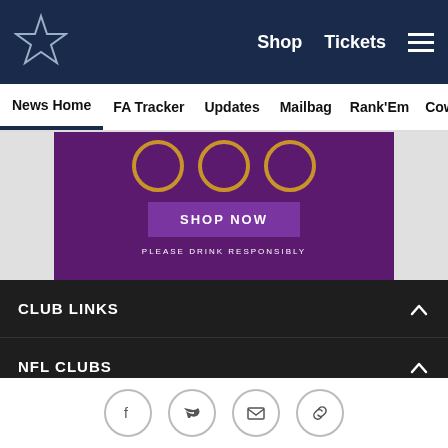[Figure (screenshot): Dallas Cowboys website header with navy blue background, star logo on left, Shop and Tickets links and hamburger menu on right]
News Home  FA Tracker  Updates  Mailbag  Rank'Em  Cowbuz
[Figure (photo): Purple advertisement banner with circular decorative elements, SHOP NOW button and PLEASE DRINK RESPONSIBLY text]
CLUB LINKS
NFL CLUBS
MORE NFL SITES
Download apps
Download on the App Store  GET IT ON Google Play
[Figure (infographic): Social media icons row: Facebook, Twitter, Email, Link]